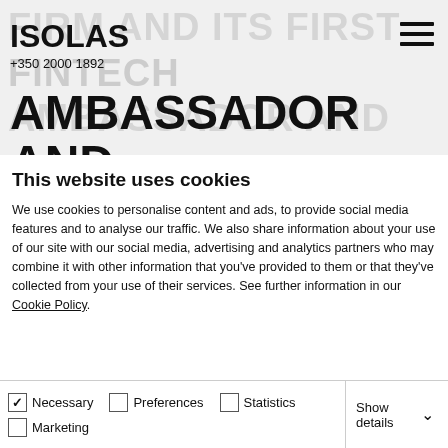ISOLAS
+350 2000 1892
AMBASSADOR AND THE PROMOTION OF PARTNER JONATHAN
This website uses cookies
We use cookies to personalise content and ads, to provide social media features and to analyse our traffic. We also share information about your use of our site with our social media, advertising and analytics partners who may combine it with other information that you've provided to them or that they've collected from your use of their services. See further information in our Cookie Policy.
Allow all cookies
Allow selection
Use necessary cookies only
Necessary  Preferences  Statistics  Marketing  Show details